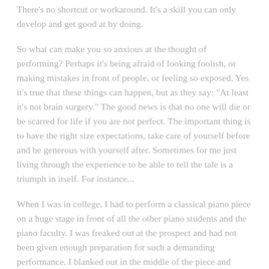There's no shortcut or workaround. It's a skill you can only develop and get good at by doing.
So what can make you so anxious at the thought of performing? Perhaps it's being afraid of looking foolish, or making mistakes in front of people, or feeling so exposed. Yes it's true that these things can happen, but as they say: "At least it's not brain surgery." The good news is that no one will die or be scarred for life if you are not perfect. The important thing is to have the right size expectations, take care of yourself before and be generous with yourself after. Sometimes for me just living through the experience to be able to tell the tale is a triumph in itself. For instance...
When I was in college, I had to perform a classical piano piece on a huge stage in front of all the other piano students and the piano faculty. I was freaked out at the prospect and had not been given enough preparation for such a demanding performance. I blanked out in the middle of the piece and wound up in the wrong key. Somehow I kept playing although I was just making up what I played. I think the audience applauded for me just because I had the chutzpah to keep going even when I was